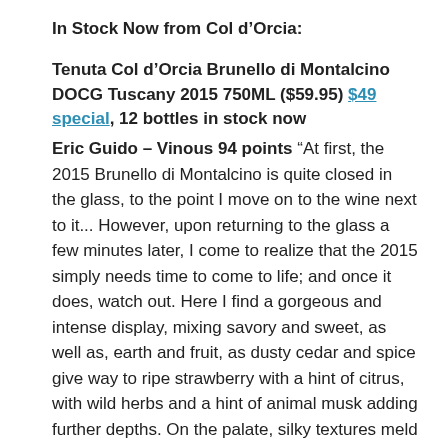In Stock Now from Col d’Orcia:
Tenuta Col d’Orcia Brunello di Montalcino DOCG Tuscany 2015 750ML ($59.95) $49 special, 12 bottles in stock now
Eric Guido – Vinous 94 points “At first, the 2015 Brunello di Montalcino is quite closed in the glass, to the point I move on to the wine next to it... However, upon returning to the glass a few minutes later, I come to realize that the 2015 simply needs time to come to life; and once it does, watch out. Here I find a gorgeous and intense display, mixing savory and sweet, as well as, earth and fruit, as dusty cedar and spice give way to ripe strawberry with a hint of citrus, with wild herbs and a hint of animal musk adding further depths. On the palate, silky textures meld into woodland red berry fruits, zesty spice, hints of cedar, savory herbs, saline minerals, and mounting tannins. The finish is long and structured,